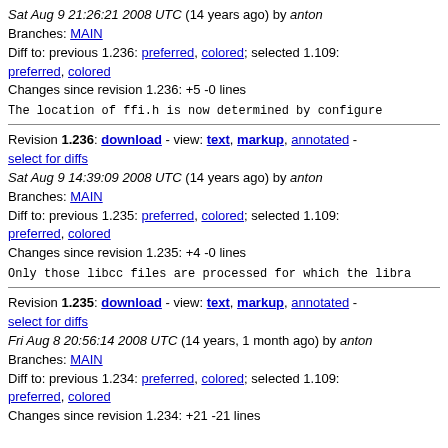Sat Aug 9 21:26:21 2008 UTC (14 years ago) by anton
Branches: MAIN
Diff to: previous 1.236: preferred, colored; selected 1.109: preferred, colored
Changes since revision 1.236: +5 -0 lines
The location of ffi.h is now determined by configure
Revision 1.236: download - view: text, markup, annotated - select for diffs
Sat Aug 9 14:39:09 2008 UTC (14 years ago) by anton
Branches: MAIN
Diff to: previous 1.235: preferred, colored; selected 1.109: preferred, colored
Changes since revision 1.235: +4 -0 lines
Only those libcc files are processed for which the libra
Revision 1.235: download - view: text, markup, annotated - select for diffs
Fri Aug 8 20:56:14 2008 UTC (14 years, 1 month ago) by anton
Branches: MAIN
Diff to: previous 1.234: preferred, colored; selected 1.109: preferred, colored
Changes since revision 1.234: +21 -21 lines